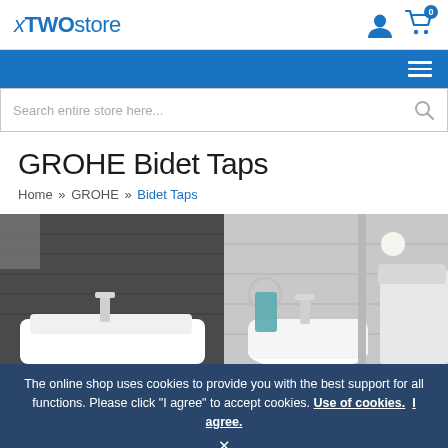xTWOstore
Search entire store here...
GROHE Bidet Taps
Home » GROHE » Bidet Taps
[Figure (photo): Two bathroom photos side by side showing chrome bidet taps on white bidets with dark and light tile backgrounds]
The online shop uses cookies to provide you with the best support for all functions. Please click "I agree" to accept cookies. Use of cookies. I agree.